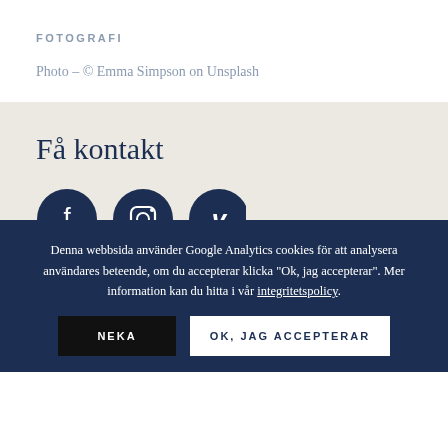FOTOGRAFI
Photo – © Emma Simpson on Unsplash
Få kontakt
[Figure (illustration): Three social media icon circles: Facebook, Instagram, Vimeo — dark navy blue circular buttons with white icons]
E-mail: info@matstorstedemardis.com
Denna webbsida använder Google Analytics cookies för att analysera användares beteende, om du accepterar klicka "Ok, jag accepterar". Mer information kan du hitta i vår integritetspolicy.
NEKA | OK, JAG ACCEPTERAR